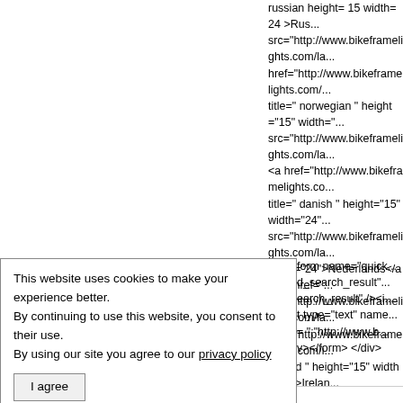russian  height= 15  width= 24 >Rus... src="http://www.bikeframelights.com/la... href="http://www.bikeframelights.com/... title=" norwegian " height="15" width="... src="http://www.bikeframelights.com/la... <a href="http://www.bikeframelights.co... title=" danish " height="15" width="24"... src="http://www.bikeframelights.com/la... width="24">Nederlands</a> <a href="... src="http://www.bikeframelights.com/la... href="http://www.bikeframelights.com/i... ireland " height="15" width="24">Irelan... src="http://www.bikeframelights.com/la... </div> </li> </ul> <div style="clear:both... <div id="head_right_bottom"> <div id=... href="http://www.bikeframelights.com/i... href="http://www.bikeframelights.com/i... id="head_right_bottom_right"> <div id=... main_page=shopping_cart"><img clas... src="http://www.bikeframelights.com/in... </div> <div id="head_left"> <a href="h... src="http://www.bikeframelights.com/in... Commerce" title=" Powered by Zen Ca...
This website uses cookies to make your experience better. By continuing to use this website, you consent to their use. By using our site you agree to our privacy policy
I agree
form name="quick... d_search_result"... earch_result" /><i... t type="text" name... = ";" onblur="if (t... src="http://www.b... v></form> </div>